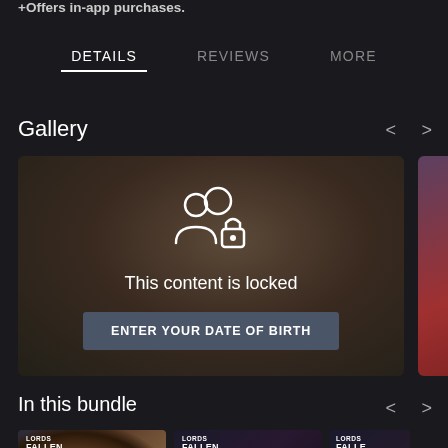+Offers in-app purchases.
DETAILS   REVIEWS   MORE
Gallery
[Figure (screenshot): Locked gallery card showing users-with-lock icon, text 'This content is locked' and button 'ENTER YOUR DATE OF BIRTH'. A second partially visible card shows similar locked content.]
In this bundle
[Figure (screenshot): Three Lords of the Fallen game bundle art thumbnails, partially cut off at the bottom of the page.]